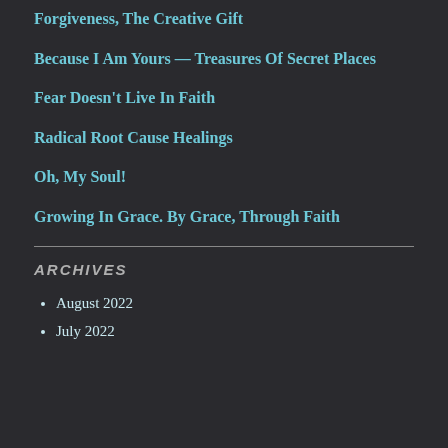Forgiveness, The Creative Gift
Because I Am Yours — Treasures Of Secret Places
Fear Doesn't Live In Faith
Radical Root Cause Healings
Oh, My Soul!
Growing In Grace. By Grace, Through Faith
ARCHIVES
August 2022
July 2022